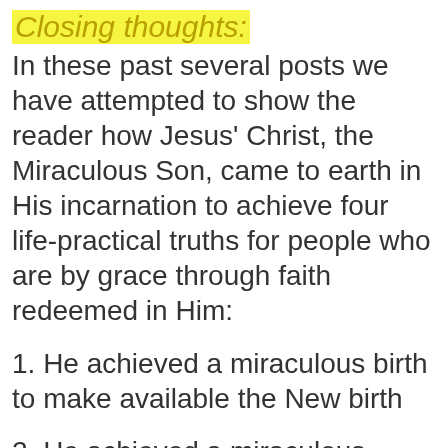Closing thoughts:
In these past several posts we have attempted to show the reader how Jesus' Christ, the Miraculous Son, came to earth in His incarnation to achieve four life-practical truths for people who are by grace through faith redeemed in Him:
1. He achieved a miraculous birth to make available the New birth
2. He achieved a miraculous death and resurrection to make actual a co-crucifixion and co resurrection for every